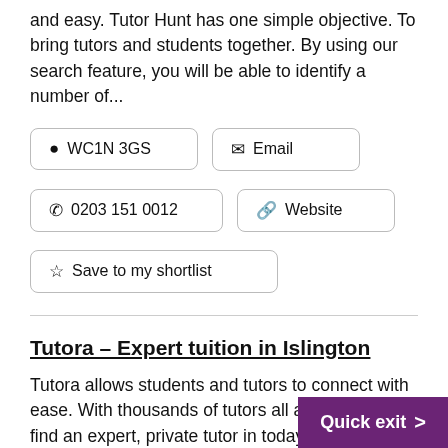and easy. Tutor Hunt has one simple objective. To bring tutors and students together. By using our search feature, you will be able to identify a number of...
📍 WC1N 3GS
✉ Email
📞 0203 151 0012
🔗 Website
☆ Save to my shortlist
Tutora – Expert tuition in Islington
Tutora allows students and tutors to connect with ease. With thousands of tutors all across the UK, find an expert, private tutor in today! See website for details, tu...and prices
Quick exit >